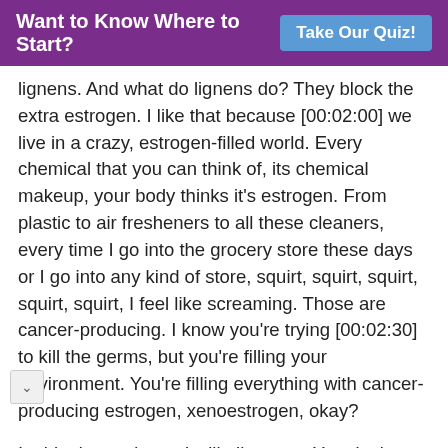Want to Know Where to Start? Take Our Quiz!
lignens. And what do lignens do? They block the extra estrogen. I like that because [00:02:00] we live in a crazy, estrogen-filled world. Every chemical that you can think of, its chemical makeup, your body thinks it's estrogen. From plastic to air fresheners to all these cleaners, every time I go into the grocery store these days or I go into any kind of store, squirt, squirt, squirt, squirt, squirt, I feel like screaming. Those are cancer-producing. I know you're trying [00:02:30] to kill the germs, but you're filling your environment. You're filling everything with cancer-producing estrogen, xenoestrogen, okay?
In this day and age, I will allow you. You don't have to. It's optional, especially if you're taking the hormonal formula already, then you don't need the flax, okay? People ask me about it. There's my answer, okay? [00:03:00] There's my answer. The benefits outweigh any carbohydrate. They're so little. I mean, it's not even worth talking about,